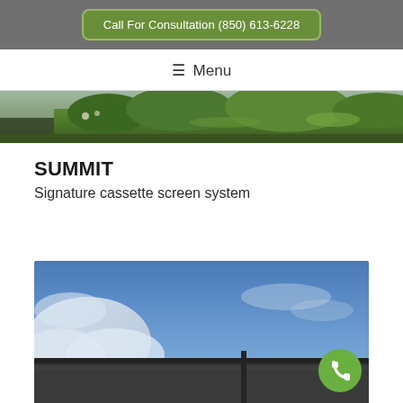Call For Consultation (850) 613-6228
≡ Menu
[Figure (photo): Outdoor garden/lawn photo strip showing green plants and grass]
SUMMIT
Signature cassette screen system
[Figure (photo): Photo of blue sky with clouds and a dark architectural screen/awning structure, with a green phone call button overlay]